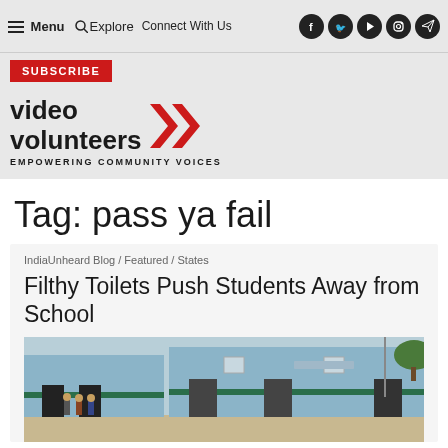≡ Menu  Q Explore  Connect With Us  [social icons: facebook, twitter, youtube, instagram, telegram]
SUBSCRIBE
[Figure (logo): Video Volunteers logo with red double-arrow chevrons and tagline 'EMPOWERING COMMUNITY VOICES']
Tag: pass ya fail
IndiaUnheard Blog / Featured / States
Filthy Toilets Push Students Away from School
[Figure (photo): Photo of a blue school building exterior with students standing in front and trees in the background]